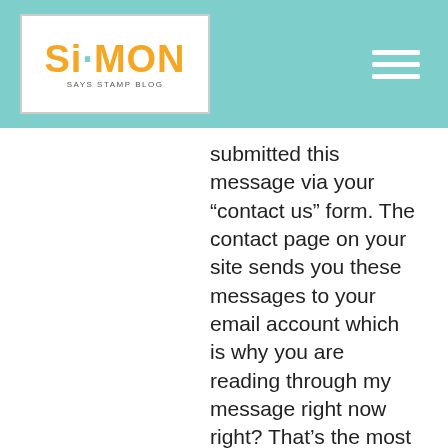Simon Says Stamp Blog
submitted this message via your “contact us” form. The contact page on your site sends you these messages to your email account which is why you are reading through my message right now right? That’s the most important accomplishment with any kind of online ad, getting people to actually READ your message
We use cookies to give you the best online experience. By agreeing, you accept the use of cookies in accordance with our cookie policy.
DECLINE
I ACCEPT
Privacy Policy  Cookie Policy
Older comments